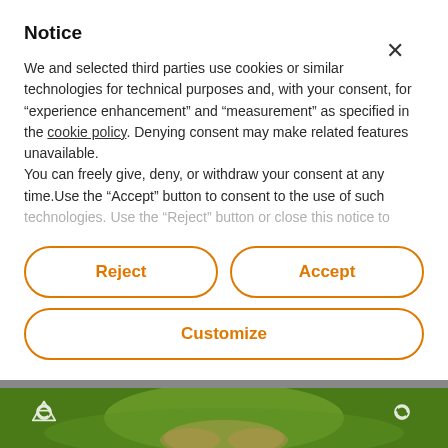Notice
We and selected third parties use cookies or similar technologies for technical purposes and, with your consent, for “experience enhancement” and “measurement” as specified in the cookie policy. Denying consent may make related features unavailable.
You can freely give, deny, or withdraw your consent at any time.Use the “Accept” button to consent to the use of such technologies. Use the “Reject” button or close this notice to
Reject
Accept
Customize
[Figure (photo): Bottom strip showing green recycling/nature themed image with hands and recycling icons]